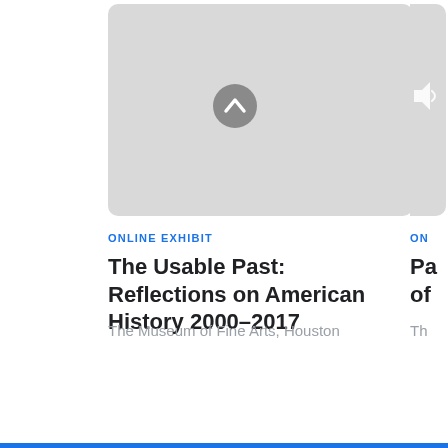[Figure (screenshot): Gray placeholder thumbnail for an online exhibit card, with a circular chevron-up button in the center]
ONLINE EXHIBIT
The Usable Past: Reflections on American History 2000–2017
The Museum of Fine Arts, Houston
[Figure (screenshot): Partially visible second card on the right edge showing gray thumbnail, 'ON' label, partial title starting with 'Pa', partial line 'of', and 'Th' institution text]